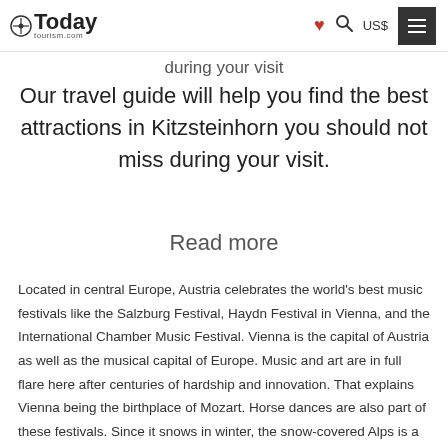Today Tourism.com — US$
during your visit
Our travel guide will help you find the best attractions in Kitzsteinhorn you should not miss during your visit.
Read more
Located in central Europe, Austria celebrates the world's best music festivals like the Salzburg Festival, Haydn Festival in Vienna, and the International Chamber Music Festival. Vienna is the capital of Austria as well as the musical capital of Europe. Music and art are in full flare here after centuries of hardship and innovation. That explains Vienna being the birthplace of Mozart. Horse dances are also part of these festivals. Since it snows in winter, the snow-covered Alps is a must be visited place during the winter. Austria experiences a moderate summer. Being can